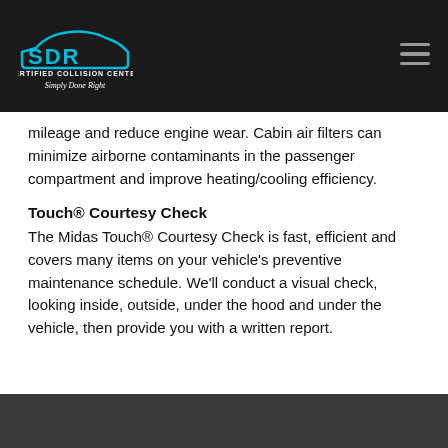SDR Certified Collision Center — Simply Done Right
mileage and reduce engine wear. Cabin air filters can minimize airborne contaminants in the passenger compartment and improve heating/cooling efficiency.
Touch® Courtesy Check
The Midas Touch® Courtesy Check is fast, efficient and covers many items on your vehicle's preventive maintenance schedule. We'll conduct a visual check, looking inside, outside, under the hood and under the vehicle, then provide you with a written report.